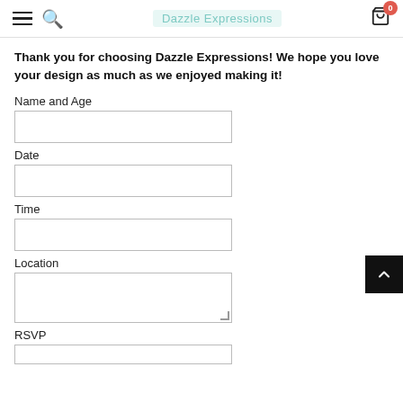Dazzle Expressions — navigation header with hamburger menu, search icon, logo, and cart (0 items)
Thank you for choosing Dazzle Expressions! We hope you love your design as much as we enjoyed making it!
Name and Age
Date
Time
Location
RSVP